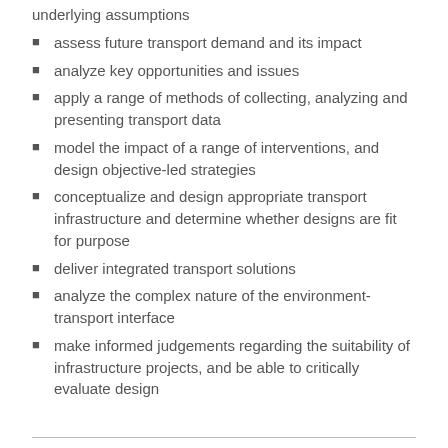underlying assumptions
assess future transport demand and its impact
analyze key opportunities and issues
apply a range of methods of collecting, analyzing and presenting transport data
model the impact of a range of interventions, and design objective-led strategies
conceptualize and design appropriate transport infrastructure and determine whether designs are fit for purpose
deliver integrated transport solutions
analyze the complex nature of the environment-transport interface
make informed judgements regarding the suitability of infrastructure projects, and be able to critically evaluate design